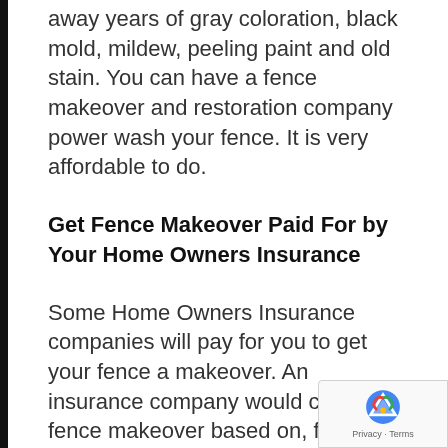Pressure washing can clean away years of gray coloration, black mold, mildew, peeling paint and old stain. You can have a fence makeover and restoration company power wash your fence. It is very affordable to do.
Get Fence Makeover Paid For by Your Home Owners Insurance
Some Home Owners Insurance companies will pay for you to get your fence a makeover. An insurance company would cover a fence makeover based on, for